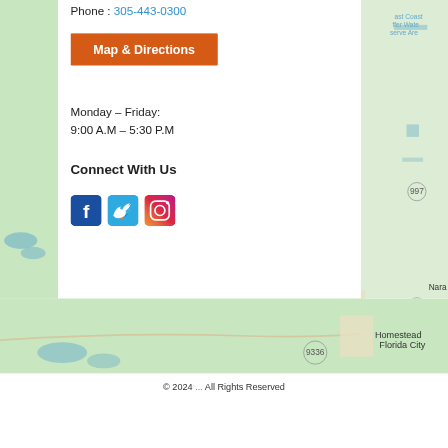Phone : 305-443-0300
Map & Directions
Monday – Friday:
9:00 A.M – 5:30 P.M
Connect With Us
[Figure (other): Social media icons: Facebook, Twitter, Instagram]
[Figure (map): Google Maps showing Homestead / Florida City area with road 9336 visible]
© 2024 ... All Rights Reserved